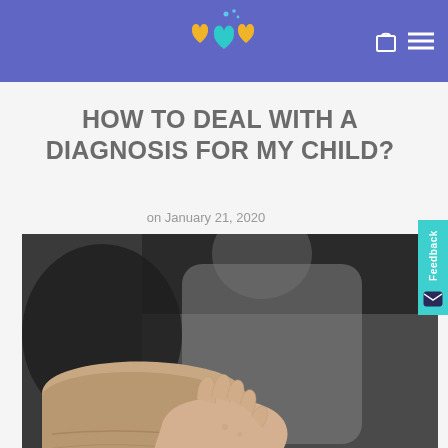Website header with logo and navigation icons
HOW TO DEAL WITH A DIAGNOSIS FOR MY CHILD?
on January 21, 2020
[Figure (photo): Close-up photograph of an adult hand and a child's hand resting together on a surface, showing a parent-child bond]